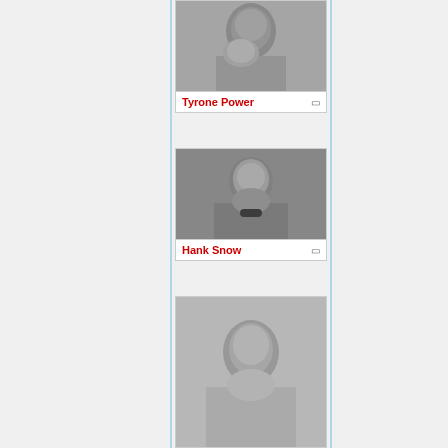[Figure (photo): Black and white portrait photo of Tyrone Power, smiling man in suit with dark hair]
Tyrone Power
[Figure (photo): Black and white portrait photo of Hank Snow, smiling man in patterned jacket with bow tie]
Hank Snow
[Figure (photo): Black and white photo of a third person, appears to be a muscular man with short hair, partially visible]